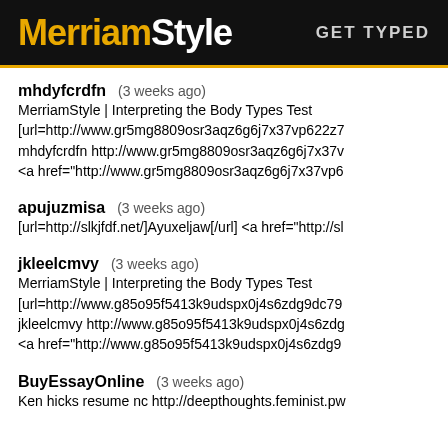MerriamStyle  GET TYPED
mhdyfcrdfn  (3 weeks ago)
MerriamStyle | Interpreting the Body Types Test
[url=http://www.gr5mg8809osr3aqz6g6j7x37vp622z7
mhdyfcrdfn http://www.gr5mg8809osr3aqz6g6j7x37v
<a href="http://www.gr5mg8809osr3aqz6g6j7x37vp6
apujuzmisa  (3 weeks ago)
[url=http://slkjfdf.net/]Ayuxeljaw[/url] <a href="http://sl
jkleelcmvy  (3 weeks ago)
MerriamStyle | Interpreting the Body Types Test
[url=http://www.g85o95f5413k9udspx0j4s6zdg9dc79
jkleelcmvy http://www.g85o95f5413k9udspx0j4s6zdg
<a href="http://www.g85o95f5413k9udspx0j4s6zdg9
BuyEssayOnline  (3 weeks ago)
Ken hicks resume nc http://deepthoughts.feminist.pw